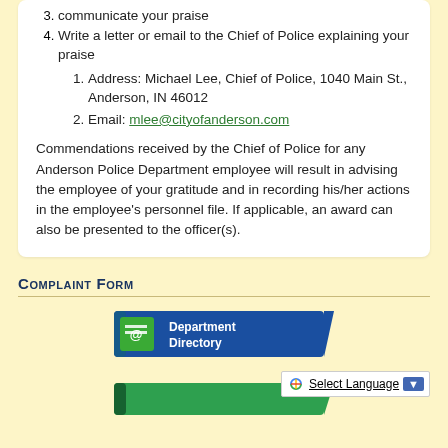communicate your praise
Write a letter or email to the Chief of Police explaining your praise
Address: Michael Lee, Chief of Police, 1040 Main St., Anderson, IN 46012
Email: mlee@cityofanderson.com
Commendations received by the Chief of Police for any Anderson Police Department employee will result in advising the employee of your gratitude and in recording his/her actions in the employee's personnel file. If applicable, an award can also be presented to the officer(s).
Complaint Form
[Figure (screenshot): Department Directory banner button with address book icon]
[Figure (screenshot): Google Translate Select Language widget with dropdown arrow]